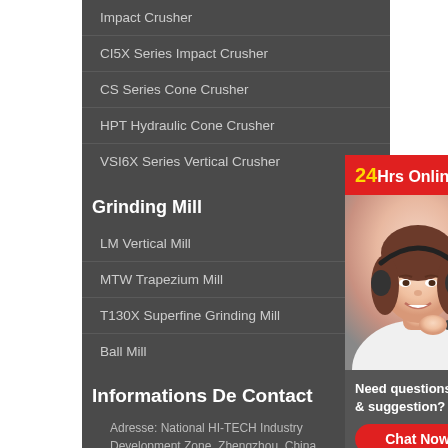Impact Crusher
CI5X Series Impact Crusher
CS Series Cone Crusher
HPT Hydraulic Cone Crusher
VSI6X Series Vertical Crusher
Grinding Mill
LM Vertical Mill
MTW Trapezium Mill
T130X Superfine Grinding Mill
Ball Mill
[Figure (photo): Customer service representative with headset smiling, under a 24Hrs Online banner, with a Chat Now button below]
Informations De Contact
Adresse: National HI-TECH Industry Development Zone, Zhengzhou, China
E-Mail:myn011@gmail.com